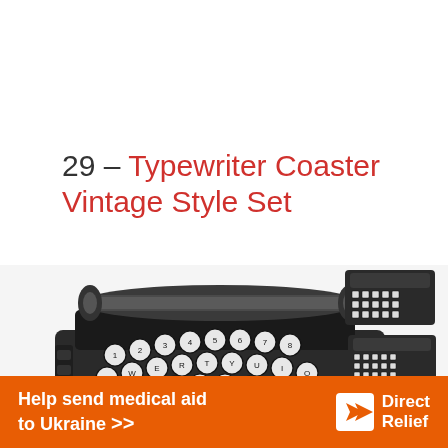29 – Typewriter Coaster Vintage Style Set
[Figure (photo): Close-up photo of a vintage miniature typewriter coaster set showing detailed keyboard keys with letters and numbers, alongside smaller component images of the set pieces]
Help send medical aid to Ukraine >> Direct Relief